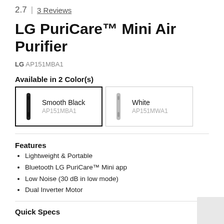2.7 | 3 Reviews
LG PuriCare™ Mini Air Purifier
LG AP151MBA1
Available in 2 Color(s)
[Figure (other): Two color options for LG PuriCare Mini Air Purifier: Smooth Black (AP151MBA1, selected with bold border) and White (AP151MWA1)]
Features
Lightweight & Portable
Bluetooth LG PuriCare™ Mini app
Low Noise (30 dB in low mode)
Dual Inverter Motor
Quick Specs